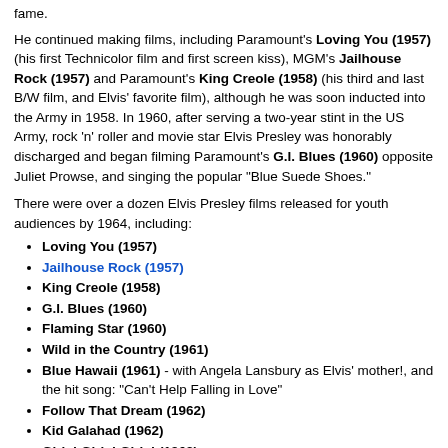fame.
He continued making films, including Paramount's Loving You (1957) (his first Technicolor film and first screen kiss), MGM's Jailhouse Rock (1957) and Paramount's King Creole (1958) (his third and last B/W film, and Elvis' favorite film), although he was soon inducted into the Army in 1958. In 1960, after serving a two-year stint in the US Army, rock 'n' roller and movie star Elvis Presley was honorably discharged and began filming Paramount's G.I. Blues (1960) opposite Juliet Prowse, and singing the popular "Blue Suede Shoes."
There were over a dozen Elvis Presley films released for youth audiences by 1964, including:
Loving You (1957)
Jailhouse Rock (1957)
King Creole (1958)
G.I. Blues (1960)
Flaming Star (1960)
Wild in the Country (1961)
Blue Hawaii (1961) - with Angela Lansbury as Elvis' mother!, and the hit song: "Can't Help Falling in Love"
Follow That Dream (1962)
Kid Galahad (1962)
Girls! Girls! Girls! (1962)
It Happened at the World's Fair (1963)
Fun in Acapulco (1963)
Kissin' Cousins (1964)